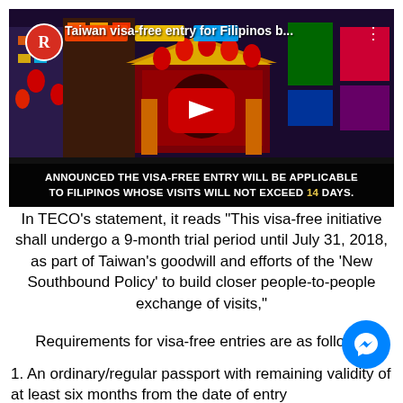[Figure (screenshot): YouTube video thumbnail showing Taiwan night market with Rappler logo. Title reads 'Taiwan visa-free entry for Filipinos b...' Overlay text: 'ANNOUNCED THE VISA-FREE ENTRY WILL BE APPLICABLE TO FILIPINOS WHOSE VISITS WILL NOT EXCEED 14 DAYS'. Large red YouTube play button in center.]
In TECO’s statement, it reads "This visa-free initiative shall undergo a 9-month trial period until July 31, 2018, as part of Taiwan’s goodwill and efforts of the ‘New Southbound Policy’ to build closer people-to-people exchange of visits,"
Requirements for visa-free entries are as follows:
1. An ordinary/regular passport with remaining validity of at least six months from the date of entry